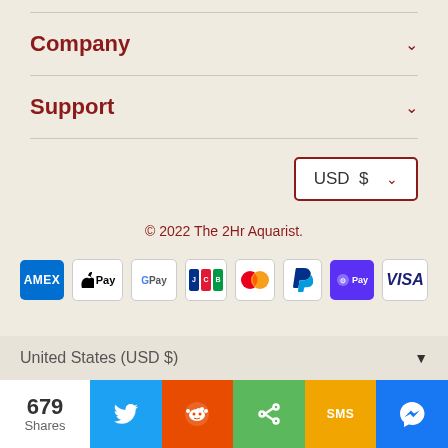Company
Support
USD $ ∨
© 2022 The 2Hr Aquarist.
[Figure (other): Payment method icons: AMEX, Apple Pay, Google Pay, JCB, Mastercard, PayPal, Shop Pay, Visa]
United States (USD $)
679 Shares